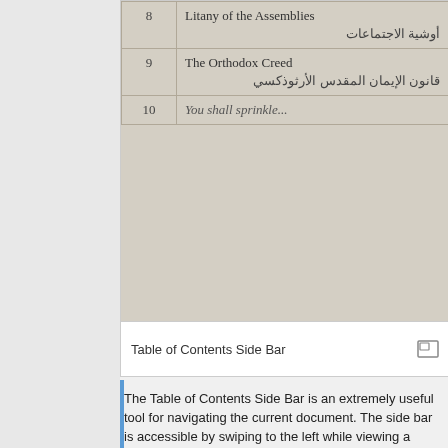[Figure (table-as-image): Screenshot of a Table of Contents Side Bar showing rows 8 (Litany of the Assemblies / أوشية الاجتماعات), 9 (The Orthodox Creed / قانون الإيمان المقدس الأرثوذكسي), and row 10 (You shall sprinkle...) partially visible]
Table of Contents Side Bar
The Table of Contents Side Bar is an extremely useful tool for navigating the current document. The side bar is accessible by swiping to the left while viewing a document or by selecting "Table of Contents" from the Left Side Bar.
Each subtitle and collapsible section that appears in the document will be listed in the Table of Contents (TOC). When the side bar is opened, it will automatically scroll to the TOC entry closest to the